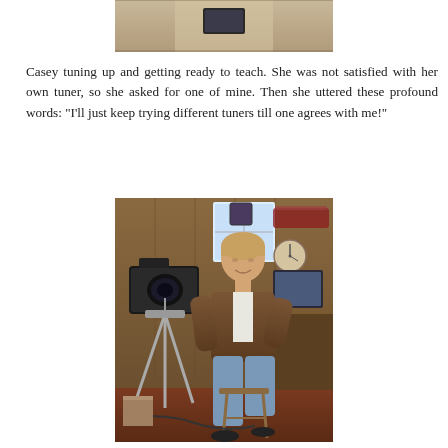[Figure (photo): Top portion of a photo showing what appears to be a tent or canopy interior with a dark rectangular object (possibly a tablet or screen) visible.]
Casey tuning up and getting ready to teach. She was not satisfied with her own tuner, so she asked for one of mine. Then she uttered these profound words: “I’ll just keep trying different tuners till one agrees with me!”
[Figure (photo): A person (likely a man) sitting on a stool in a wood-paneled room, with a professional video camera on a tripod in the foreground. There is a clock on the wall, a window behind, and computer equipment visible on a desk to the right.]